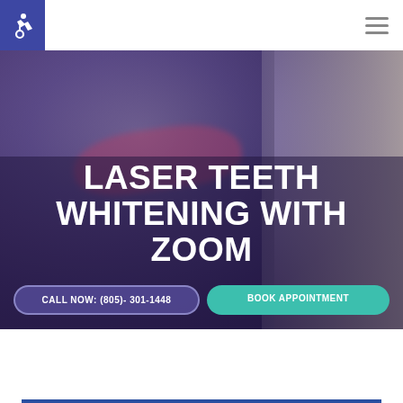Accessibility icon and hamburger menu navigation
[Figure (photo): Woman reclined in dental chair wearing pink/red protective glasses during laser teeth whitening procedure, with a bright dental light visible in the background]
LASER TEETH WHITENING WITH ZOOM
CALL NOW: (805)- 301-1448
BOOK APPOINTMENT